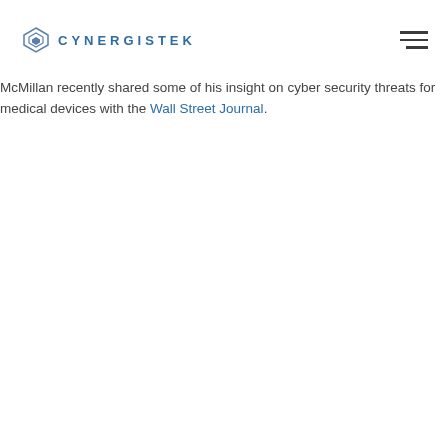CYNERGISTEK
McMillan recently shared some of his insight on cyber security threats for medical devices with the Wall Street Journal.